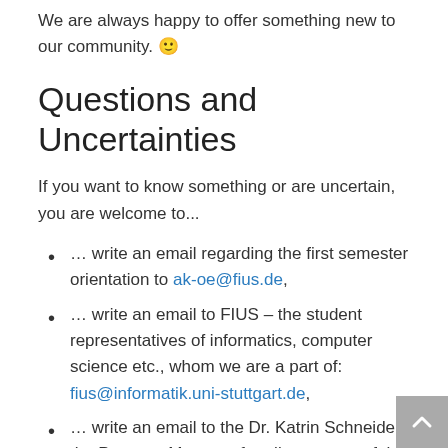We are always happy to offer something new to our community. 🙂
Questions and Uncertainties
If you want to know something or are uncertain, you are welcome to...
… write an email regarding the first semester orientation to ak-oe@fius.de,
… write an email to FIUS – the student representatives of informatics, computer science etc., whom we are a part of: fius@informatik.uni-stuttgart.de,
… write an email to the Dr. Katrin Schneider, the Program Manager for all programs of the Computer Science Department: